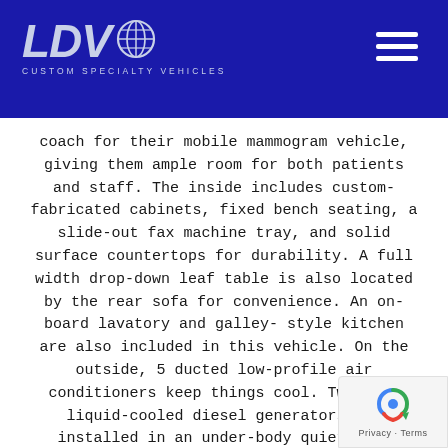LDV Custom Specialty Vehicles
coach for their mobile mammogram vehicle, giving them ample room for both patients and staff. The inside includes custom-fabricated cabinets, fixed bench seating, a slide-out fax machine tray, and solid surface countertops for durability. A full width drop-down leaf table is also located by the rear sofa for convenience. An on-board lavatory and galley-style kitchen are also included in this vehicle. On the outside, 5 ducted low-profile air conditioners keep things cool. Two 30kW liquid-cooled diesel generators are installed in an under-body quiet box.
VEHICLE DETAILS